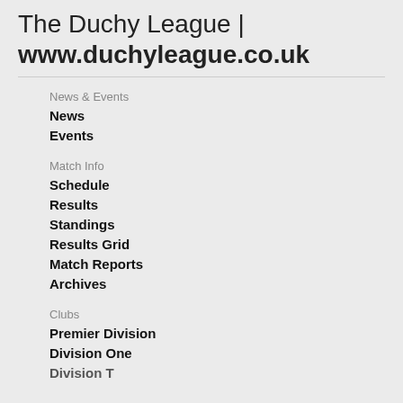The Duchy League | www.duchyleague.co.uk
News & Events
News
Events
Match Info
Schedule
Results
Standings
Results Grid
Match Reports
Archives
Clubs
Premier Division
Division One
Division T...